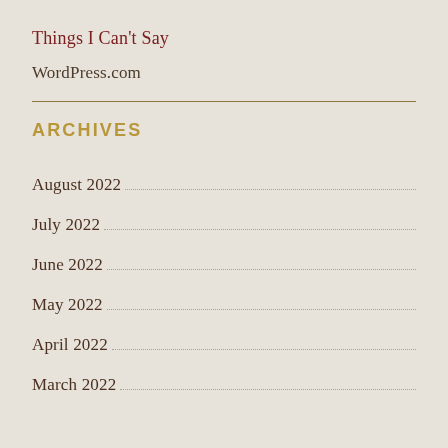Things I Can't Say
WordPress.com
ARCHIVES
August 2022
July 2022
June 2022
May 2022
April 2022
March 2022